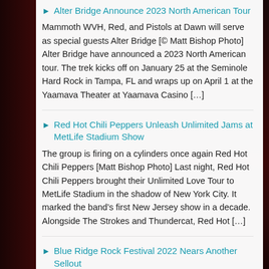Alter Bridge Announce 2023 North American Tour — Mammoth WVH, Red, and Pistols at Dawn will serve as special guests Alter Bridge [© Matt Bishop Photo] Alter Bridge have announced a 2023 North American tour. The trek kicks off on January 25 at the Seminole Hard Rock in Tampa, FL and wraps up on April 1 at the Yaamava Theater at Yaamava Casino […]
Red Hot Chili Peppers Unleash Unlimited Jams at MetLife Stadium Show — The group is firing on a cylinders once again Red Hot Chili Peppers [Matt Bishop Photo] Last night, Red Hot Chili Peppers brought their Unlimited Love Tour to MetLife Stadium in the shadow of New York City. It marked the band's first New Jersey show in a decade. Alongside The Strokes and Thundercat, Red Hot […]
Blue Ridge Rock Festival 2022 Nears Another Sellout — The ULTIMATE Rock & Metal Weekend September 8th-11th